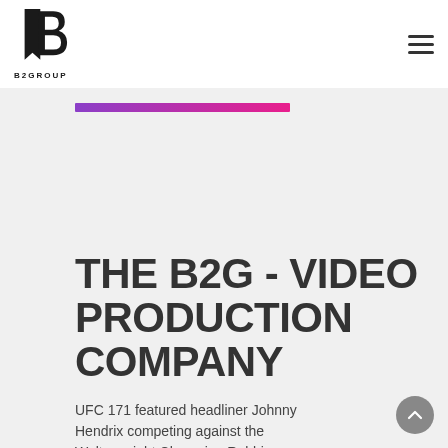[Figure (logo): B2GROUP logo: stylized letter B with a bookmark/ribbon shape in black, with text 'B2GROUP' below]
[Figure (other): Hamburger menu icon (three horizontal lines) in top right corner]
[Figure (other): Horizontal gradient bar from purple to pink/magenta]
THE B2G - VIDEO PRODUCTION COMPANY
UFC 171 featured headliner Johnny Hendrix competing against the Welterweight Champion Robbie...